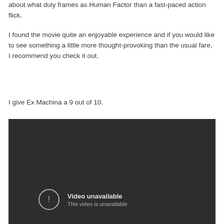…about what duly frames as Human Factor than a fast-paced action flick.
I found the movie quite an enjoyable experience and if you would like to see something a little more thought-provoking than the usual fare, I recommend you check it out.
I give Ex Machina a 9 out of 10.
[Figure (screenshot): Embedded video player showing a dark background with a 'Video unavailable / This video is unavailable' error message and an exclamation mark icon.]